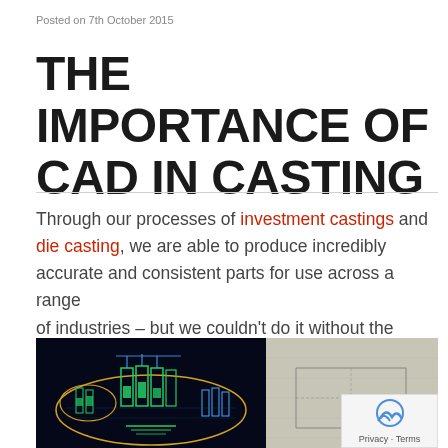Posted on 7th October 2015
THE IMPORTANCE OF CAD IN CASTING
Through our processes of investment castings and die casting, we are able to produce incredibly accurate and consistent parts for use across a range of industries – but we couldn't do it without the designs which show us exactly what you need.
[Figure (photo): Left half: CAD rendering of mechanical parts on black background with yellow and green wireframe lines. Right half: Physical blueprint/drawing on paper.]